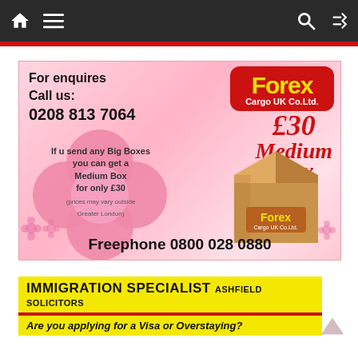Navigation bar with home, menu, search, and shuffle icons
[Figure (illustration): Forex Cargo UK Co.Ltd. advertisement. Pink floral background. Text: For enquires Call us: 0208 813 7064. Forex logo (red rounded rectangle, yellow text). £30 Medium Box offer. Flower shape with text: If u send any Big Boxes you can get a Medium Box for only £30 (prices may vary outside Greater London). Cardboard box illustration with Forex label. Freephone 0800 028 0880.]
[Figure (illustration): Immigration Specialist Ashfield Solicitors advertisement banner. Yellow background with black bold text IMMIGRATION SPECIALIST ASHFIELD SOLICITORS. Red bar. Yellow background with italic text: Are you applying for a Visa or Overstaying?]